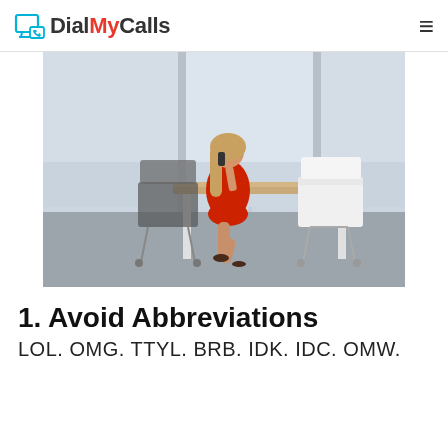DialMyCalls
[Figure (photo): Woman in red dress sitting at a desk in an office, talking on a phone, with large windows and another empty white office chair visible]
1. Avoid Abbreviations
LOL. OMG. TTYL. BRB. IDK. IDC. OMW.